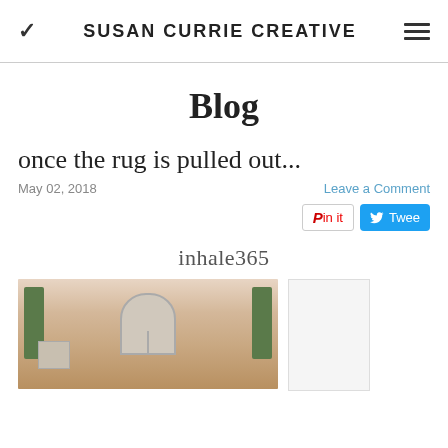SUSAN CURRIE CREATIVE
Blog
once the rug is pulled out...
May 02, 2018
Leave a Comment
Pin it   Tweet
inhale365
[Figure (photo): Exterior facade of a building with an arched window and green shutters, pink/beige walls, partially cropped]